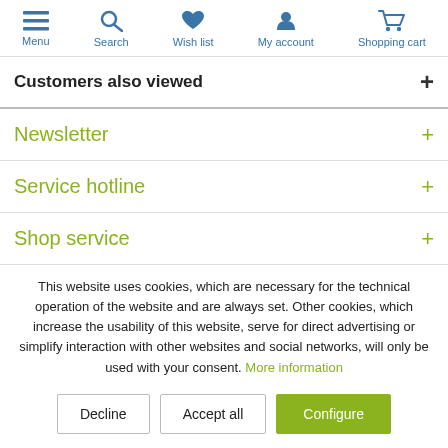Menu | Search | Wish list | My account | Shopping cart
Customers also viewed
Newsletter
Service hotline
Shop service
This website uses cookies, which are necessary for the technical operation of the website and are always set. Other cookies, which increase the usability of this website, serve for direct advertising or simplify interaction with other websites and social networks, will only be used with your consent. More information
Decline | Accept all | Configure